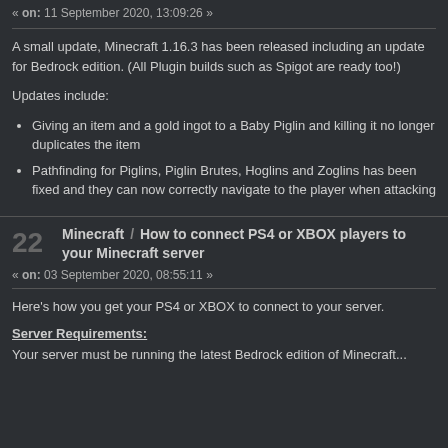« on: 11 September 2020, 13:09:26 »
A small update, Minecraft 1.16.3 has been released including an update for Bedrock edition. (All Plugin builds such as Spigot are ready too!)
Updates include:
Giving an item and a gold ingot to a Baby Piglin and killing it no longer duplicates the item
Pathfinding for Piglins, Piglin Brutes, Hoglins and Zoglins has been fixed and they can now correctly navigate to the player when attacking
22 Minecraft / How to connect PS4 or XBOX players to your Minecraft server
« on: 03 September 2020, 08:55:11 »
Here's how you get your PS4 or XBOX to connect to your server.
Server Requirements:
Your server must be running the latest Bedrock edition of Minecraft...